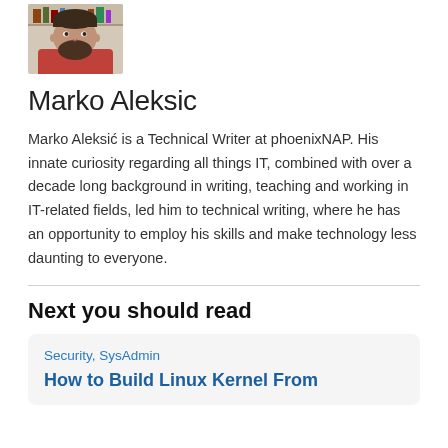[Figure (photo): Headshot photo of Marko Aleksic, a man with a beard wearing a red shirt, with bookshelves in the background]
Marko Aleksic
Marko Aleksić is a Technical Writer at phoenixNAP. His innate curiosity regarding all things IT, combined with over a decade long background in writing, teaching and working in IT-related fields, led him to technical writing, where he has an opportunity to employ his skills and make technology less daunting to everyone.
Next you should read
Security, SysAdmin
How to Build Linux Kernel From